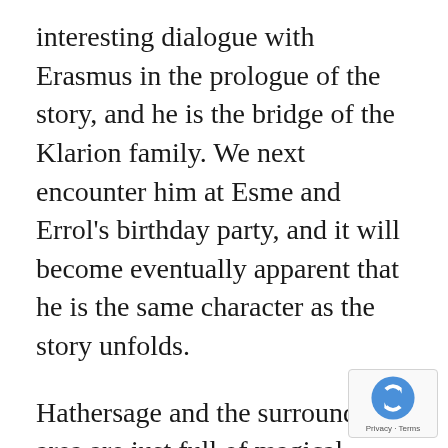interesting dialogue with Erasmus in the prologue of the story, and he is the bridge of the Klarion family. We next encounter him at Esme and Errol's birthday party, and it will become eventually apparent that he is the same character as the story unfolds.
Hathersage and the surrounding area are just full of magical types, as well as normal types. If you take a book series like Harry Potter, the magicians sort of exist in parallel space. Not so in this universe. What is known and isn't known sort of depends on who you are. So there are magical families, families that are magical who know a bit about magical folks, and people who live normal lives and are
[Figure (logo): Google reCAPTCHA badge with logo and Privacy · Terms text]